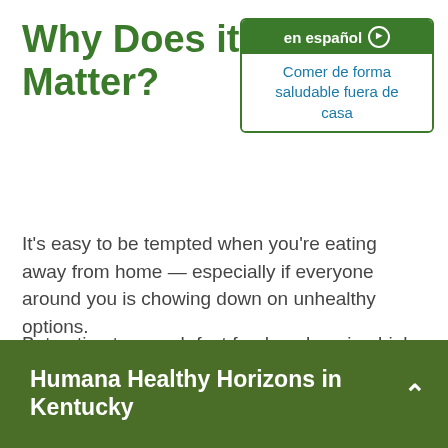Why Does it Matter?
[Figure (other): en español button box with link text 'Comer de forma saludable fuera de casa']
It's easy to be tempted when you're eating away from home — especially if everyone around you is chowing down on unhealthy options.
But eating too much fast food or choosing high-fat, high-calorie menu items can drag a person's body down. The most obvious problem is weight gain. But
Humana Healthy Horizons in Kentucky